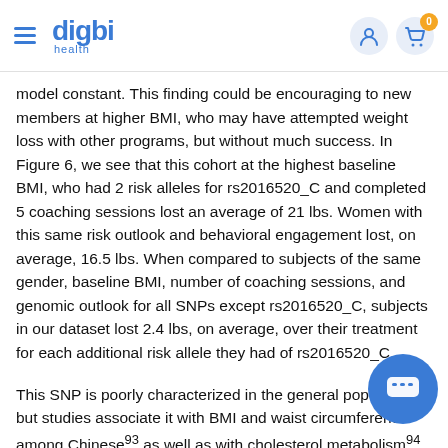digbi health — navigation header with hamburger menu, user icon, and cart icon (badge: 0)
model constant. This finding could be encouraging to new members at higher BMI, who may have attempted weight loss with other programs, but without much success. In Figure 6, we see that this cohort at the highest baseline BMI, who had 2 risk alleles for rs2016520_C and completed 5 coaching sessions lost an average of 21 lbs. Women with this same risk outlook and behavioral engagement lost, on average, 16.5 lbs. When compared to subjects of the same gender, baseline BMI, number of coaching sessions, and genomic outlook for all SNPs except rs2016520_C, subjects in our dataset lost 2.4 lbs, on average, over their treatment for each additional risk allele they had of rs2016520_C.
This SNP is poorly characterized in the general population, but studies associate it with BMI and waist circumference among Chinese93 as well as with cholesterol metabolism94. Th